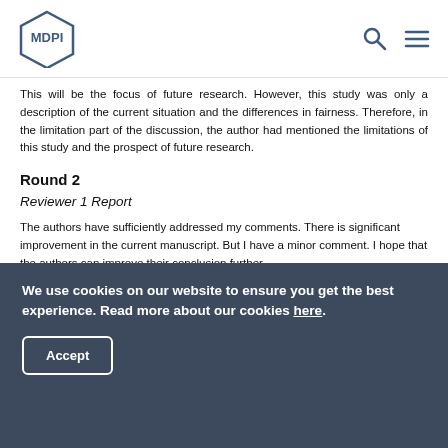MDPI logo with search and menu icons
This will be the focus of future research. However, this study was only a description of the current situation and the differences in fairness. Therefore, in the limitation part of the discussion, the author had mentioned the limitations of this study and the prospect of future research.
Round 2
Reviewer 1 Report
The authors have sufficiently addressed my comments. There is significant improvement in the current manuscript. But I have a minor comment. I hope that the authors can improve their conclusion further.
We use cookies on our website to ensure you get the best experience. Read more about our cookies here. Accept